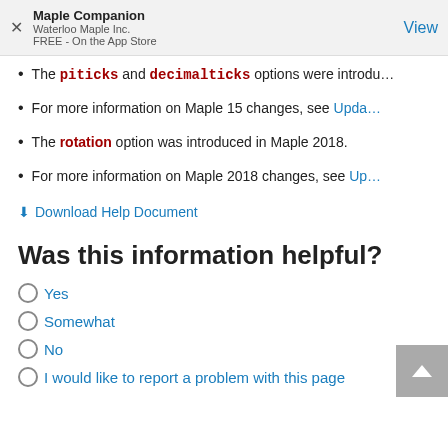Maple Companion
Waterloo Maple Inc.
FREE - On the App Store
View
The piticks and decimalticks options were introdu…
For more information on Maple 15 changes, see Upda…
The rotation option was introduced in Maple 2018.
For more information on Maple 2018 changes, see Up…
Download Help Document
Was this information helpful?
Yes
Somewhat
No
I would like to report a problem with this page